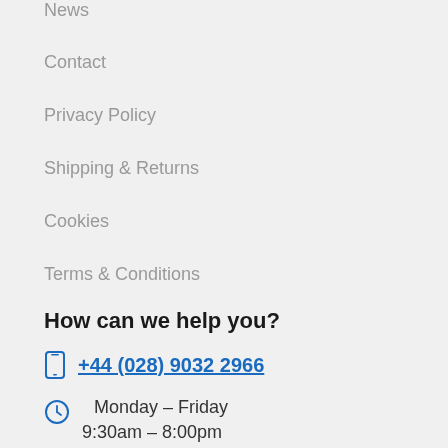News
Contact
Privacy Policy
Shipping & Returns
Cookies
Terms & Conditions
How can we help you?
+44 (028) 9032 2966
Monday – Friday
9:30am – 8:00pm